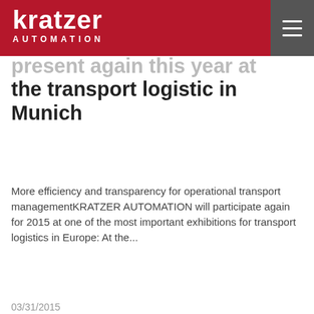kratzer AUTOMATION
present again this year at the transport logistic in Munich
More efficiency and transparency for operational transport managementKRATZER AUTOMATION will participate again for 2015 at one of the most important exhibitions for transport logistics in Europe: At the...
03/31/2015
We use cookies to collect anonymous information about the use of the website by visitors. By clicking on "Accept cookies" you agree to the use of cookies. You can find more information here: Declaration on data protection.
Continue without cookies
Accept cookies
present again this year at the SITL in Paris
KRATZER AUTOMATION will participate again for 2015 at one of the most important exhibitions for